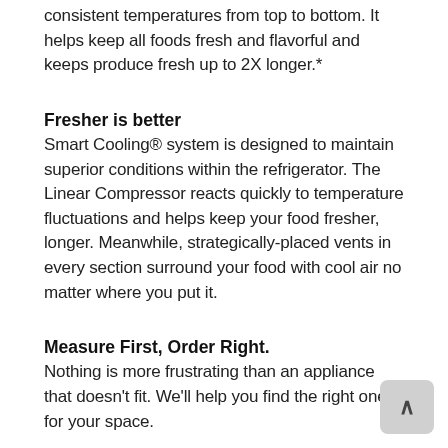consistent temperatures from top to bottom. It helps keep all foods fresh and flavorful and keeps produce fresh up to 2X longer.*
Fresher is better
Smart Cooling® system is designed to maintain superior conditions within the refrigerator. The Linear Compressor reacts quickly to temperature fluctuations and helps keep your food fresher, longer. Meanwhile, strategically-placed vents in every section surround your food with cool air no matter where you put it.
Measure First, Order Right.
Nothing is more frustrating than an appliance that doesn't fit. We'll help you find the right one for your space.